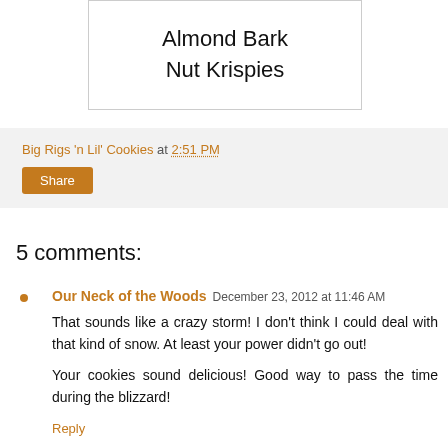[Figure (illustration): Hand-drawn style text image showing 'Almond Bark Nut Krispies']
Big Rigs 'n Lil' Cookies at 2:51 PM
Share
5 comments:
Our Neck of the Woods December 23, 2012 at 11:46 AM
That sounds like a crazy storm! I don't think I could deal with that kind of snow. At least your power didn't go out!

Your cookies sound delicious! Good way to pass the time during the blizzard!
Reply